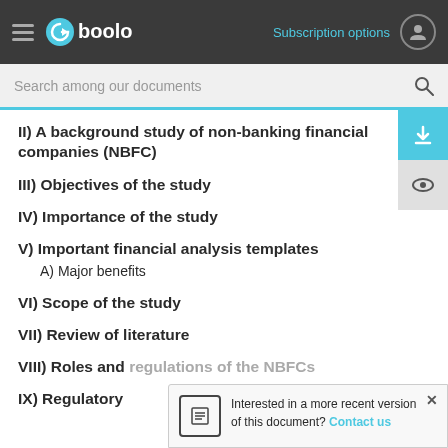Gboolo — Subscription options
Search among our documents
II) A background study of non-banking financial companies (NBFC)
III) Objectives of the study
IV) Importance of the study
V) Important financial analysis templates
A) Major benefits
VI) Scope of the study
VII) Review of literature
VIII) Roles and regulations of the NBFCs
IX) Regulatory
Interested in a more recent version of this document? Contact us